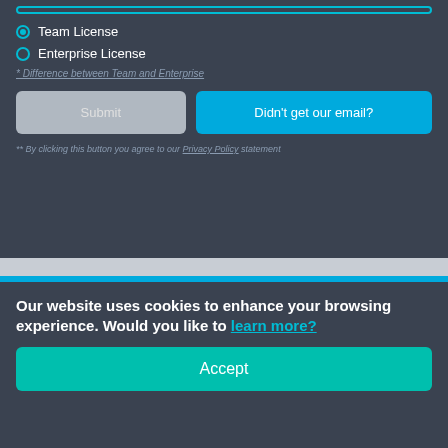Team License
Enterprise License
* Difference between Team and Enterprise
Submit
Didn't get our email?
** By clicking this button you agree to our Privacy Policy statement
Our website uses cookies to enhance your browsing experience. Would you like to learn more?
Accept